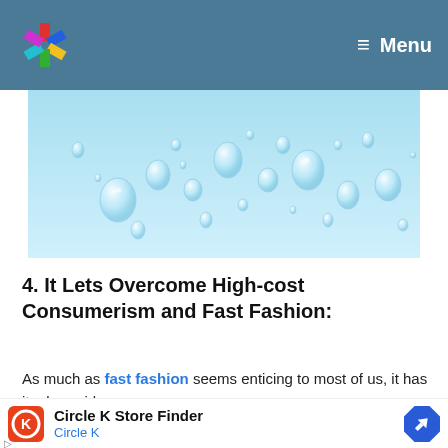Menu
[Figure (photo): Water droplets forming cursive text on a light blue background]
4. It Lets Overcome High-cost Consumerism and Fast Fashion:
As much as fast fashion seems enticing to most of us, it has its downside.
[Figure (other): Advertisement: Circle K Store Finder]